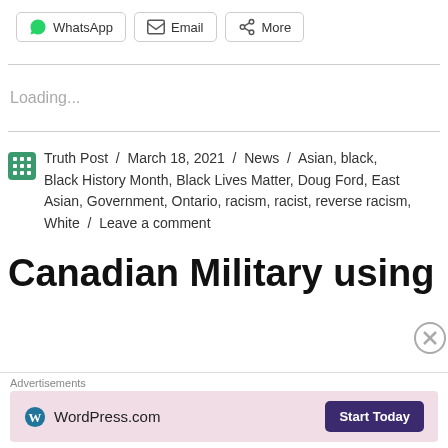[Figure (screenshot): Share buttons row: WhatsApp, Email, More]
Loading...
Truth Post / March 18, 2021 / News / Asian, black, Black History Month, Black Lives Matter, Doug Ford, East Asian, Government, Ontario, racism, racist, reverse racism, White / Leave a comment
Canadian Military using
[Figure (screenshot): Advertisement banner: WordPress.com with Start Today button]